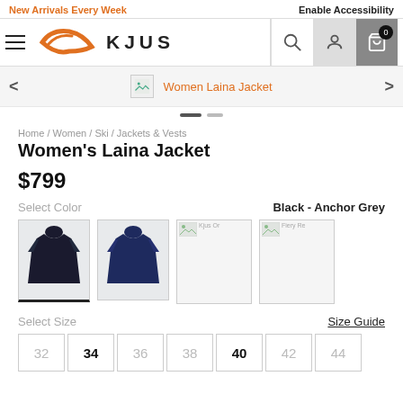New Arrivals Every Week | Enable Accessibility
[Figure (logo): KJUS brand logo with orange swoosh and KJUS text]
[Figure (screenshot): Slider showing Women Laina Jacket with thumbnail, navigation arrows, and pagination dots]
Home / Women / Ski / Jackets & Vests
Women's Laina Jacket
$799
Select Color
Black - Anchor Grey
[Figure (photo): Four color swatches for Women's Laina Jacket: black, navy, and two others with broken image icons]
Select Size
Size Guide
32  34  36  38  40  42  44